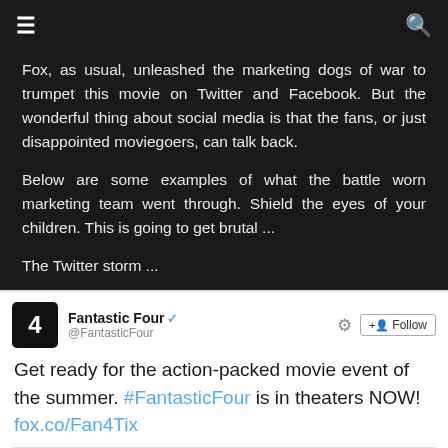≡ [menu] [search]
Fox, as usual, unleashed the marketing dogs of war to trumpet this movie on Twitter and Facebook. But the wonderful thing about social media is that the fans, or just disappointed moviegoers, can talk back.
Below are some examples of what the battle worn marketing team went through. Shield the eyes of your children. This is going to get brutal ...
The Twitter storm ...
[Figure (screenshot): Screenshot of a Fantastic Four Twitter post: 'Get ready for the action-packed movie event of the summer. #FantasticFour is in theaters NOW! fox.co/Fan4Tix' with 41 retweets and 80 favorites.]